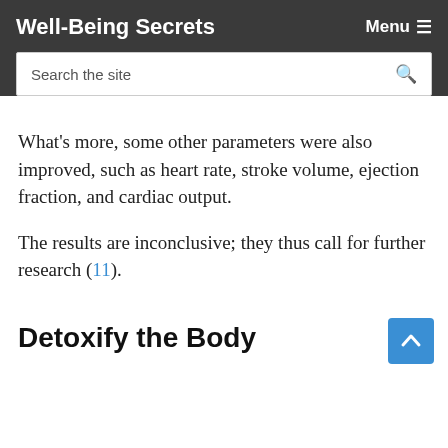Well-Being Secrets
What's more, some other parameters were also improved, such as heart rate, stroke volume, ejection fraction, and cardiac output.
The results are inconclusive; they thus call for further research (11).
Detoxify the Body